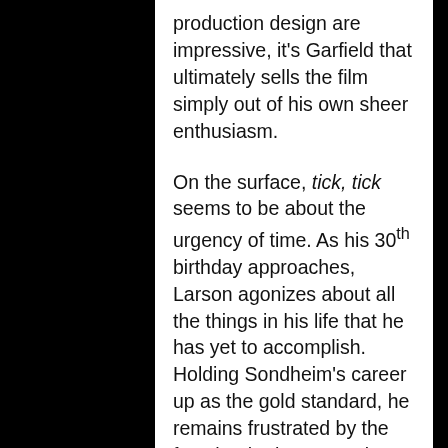production design are impressive, it's Garfield that ultimately sells the film simply out of his own sheer enthusiasm.
On the surface, tick, tick seems to be about the urgency of time. As his 30th birthday approaches, Larson agonizes about all the things in his life that he has yet to accomplish. Holding Sondheim's career up as the gold standard, he remains frustrated by the fact that he has yet to leave his mark on Broadway. To him, the 30th year is almost too late to be seen as one of the voices who have changed the face of theatre and he